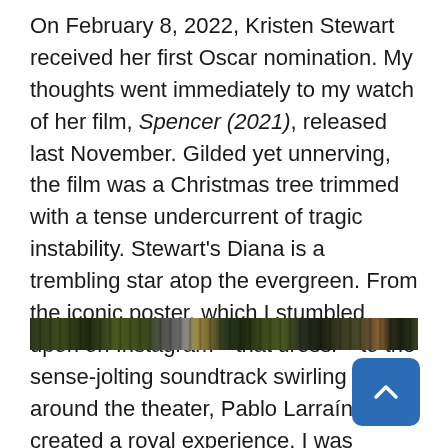On February 8, 2022, Kristen Stewart received her first Oscar nomination. My thoughts went immediately to my watch of her film, Spencer (2021), released last November. Gilded yet unnerving, the film was a Christmas tree trimmed with a tense undercurrent of tragic instability. Stewart's Diana is a trembling star atop the evergreen. From the iconic poster, which I stumbled upon on Instagram—that dress!—to the sense-jolting soundtrack swirling around the theater, Pablo Larraín had created a royal experience. I was hooked.
[Figure (photo): A dark, narrow horizontal strip showing what appears to be a dimly lit interior scene with dark greens and browns, suggesting a film still or theatrical photograph.]